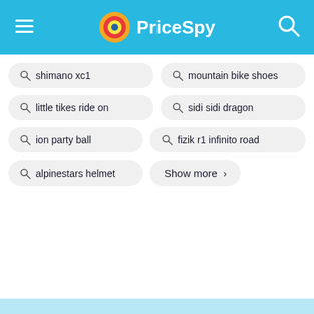PriceSpy
shimano xc1
mountain bike shoes
little tikes ride on
sidi sidi dragon
ion party ball
fizik r1 infinito road
alpinestars helmet
Show more >